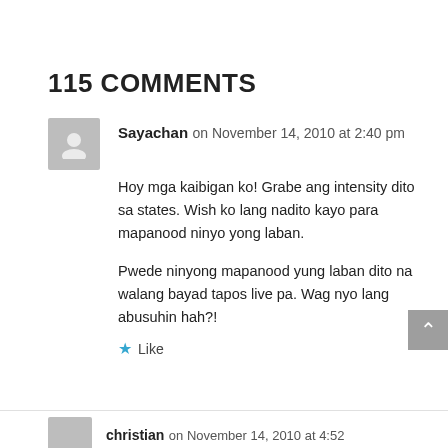115 COMMENTS
Sayachan on November 14, 2010 at 2:40 pm
Hoy mga kaibigan ko! Grabe ang intensity dito sa states. Wish ko lang nadito kayo para mapanood ninyo yong laban.

Pwede ninyong mapanood yung laban dito na walang bayad tapos live pa. Wag nyo lang abusuhin hah?!
★ Like
christian on November 14, 2010 at 4:52